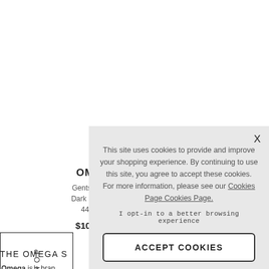OMEG
Gents Speed
Dark Side of t
44.25m
$10,086.
[Figure (other): TOP navigation box with up arrow and vertical TOP text]
THE OMEGA S
Omega is a bran
creating watches for use on the moon and the depths of
This site uses cookies to provide and improve your shopping experience. By continuing to use this site, you agree to accept these cookies. For more information, please see our Cookies Page Cookies Page.

I opt-in to a better browsing experience
ACCEPT COOKIES